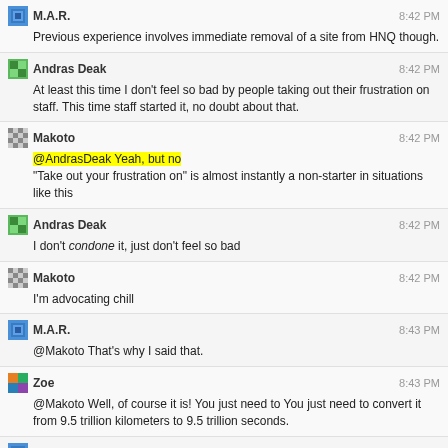M.A.R. 8:42 PM
Previous experience involves immediate removal of a site from HNQ though.
Andras Deak 8:42 PM
At least this time I don't feel so bad by people taking out their frustration on staff. This time staff started it, no doubt about that.
Makoto 8:42 PM
@AndrasDeak Yeah, but no
"Take out your frustration on" is almost instantly a non-starter in situations like this
Andras Deak 8:42 PM
I don't condone it, just don't feel so bad
Makoto 8:42 PM
I'm advocating chill
M.A.R. 8:43 PM
@Makoto That's why I said that.
Zoe 8:43 PM
@Makoto Well, of course it is! You just need to You just need to convert it from 9.5 trillion kilometers to 9.5 trillion seconds.
M.A.R. 8:43 PM
I'm maintaining the chill, however possible.
@Zoe WinDAR